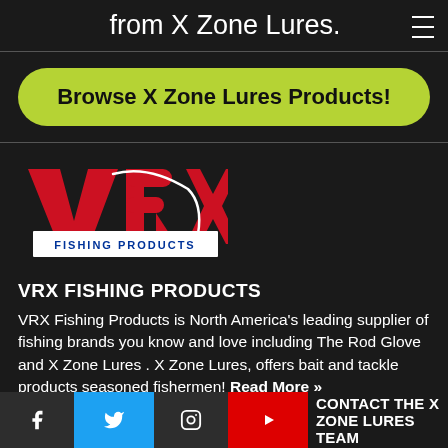from X Zone Lures.
Browse X Zone Lures Products!
[Figure (logo): VRX Fishing Products logo with bold red VRX letters and fishing hook graphic, with 'FISHING PRODUCTS' in a white rectangular banner]
VRX FISHING PRODUCTS
VRX Fishing Products is North America's leading supplier of fishing brands you know and love including The Rod Glove and X Zone Lures . X Zone Lures, offers bait and tackle products seasoned fishermen! Read More »
CONTACT THE X ZONE LURES TEAM